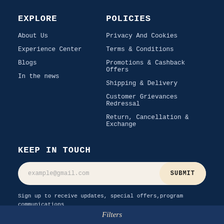EXPLORE
About Us
Experience Center
Blogs
In the news
POLICIES
Privacy And Cookies
Terms & Conditions
Promotions & Cashback Offers
Shipping & Delivery
Customer Grievances Redressal
Return, Cancellation & Exchange
KEEP IN TOUCH
example@gmail.com
SUBMIT
Sign up to receive updates, special offers,program communications and other information from Zigly
+91 80696 01281
Filters